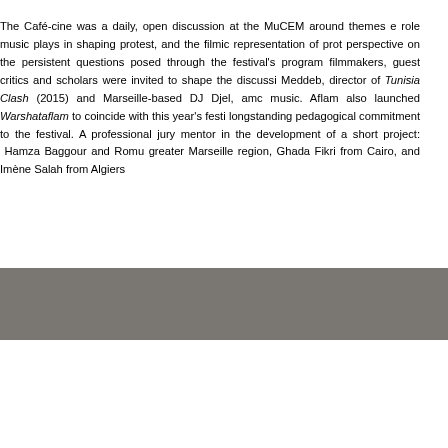The Café-cine was a daily, open discussion at the MuCEM around themes e role music plays in shaping protest, and the filmic representation of prot perspective on the persistent questions posed through the festival's program filmmakers, guest critics and scholars were invited to shape the discussi Meddeb, director of Tunisia Clash (2015) and Marseille-based DJ Djel, am music. Aflam also launched Warshataflam to coincide with this year's festi longstanding pedagogical commitment to the festival. A professional jury mentor in the development of a short project: Hamza Baggour and Romu greater Marseille region, Ghada Fikri from Cairo, and Imène Salah from Algier
[Figure (photo): Gray rectangular bar/image placeholder]